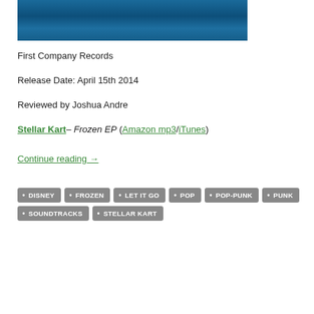[Figure (photo): Blue textured album art background, partially visible at top of page]
First Company Records
Release Date: April 15th 2014
Reviewed by Joshua Andre
Stellar Kart– Frozen EP (Amazon mp3/iTunes)
Continue reading →
DISNEY
FROZEN
LET IT GO
POP
POP-PUNK
PUNK
SOUNDTRACKS
STELLAR KART